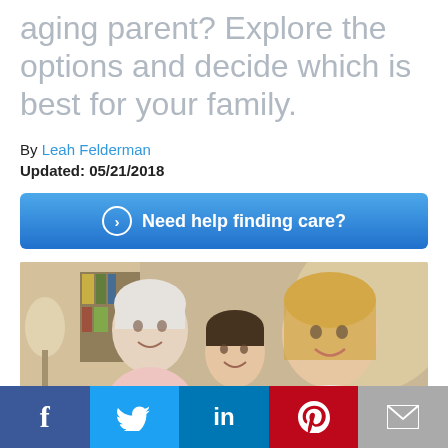aging parent? Explore the options and decide which is best for your family.
By Leah Felderman
Updated: 05/21/2018
Need help finding care?
[Figure (photo): Three generations of women smiling together in a home setting — an elderly woman, a young girl, and a young adult woman.]
Facebook | Twitter | LinkedIn | Pinterest | Email